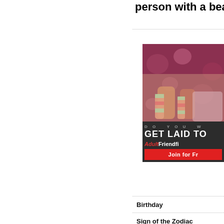person with a bea...
[Figure (advertisement): Adult dating website advertisement banner partially visible on right side. Shows photo of person on bed with striped socks and polka dot bedding, with dark overlay text reading 'DO YOU W... GET LAID TO...' and 'AdultFriendFinder' branding and 'Join for Fr...' red button.]
Birthday
Sign of the Zodiac
Gender
Type of Relationship
Country